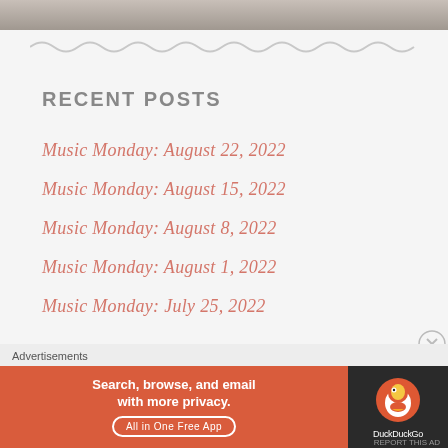[Figure (photo): Partial photo strip at top of page showing people]
RECENT POSTS
Music Monday: August 22, 2022
Music Monday: August 15, 2022
Music Monday: August 8, 2022
Music Monday: August 1, 2022
Music Monday: July 25, 2022
Advertisements
[Figure (screenshot): DuckDuckGo advertisement banner: 'Search, browse, and email with more privacy. All in One Free App' with DuckDuckGo logo on dark background]